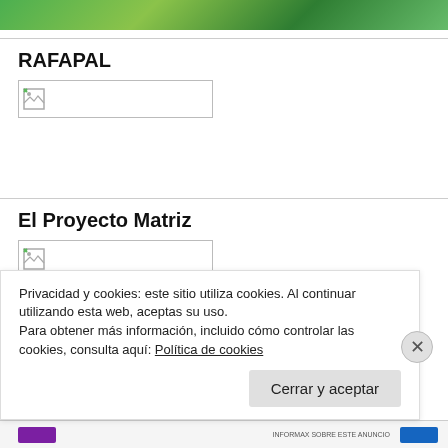[Figure (photo): Green banner header image with plant/leaf textures]
RAFAPAL
[Figure (photo): Broken image placeholder box]
El Proyecto Matriz
[Figure (photo): Broken image placeholder box]
Privacidad y cookies: este sitio utiliza cookies. Al continuar utilizando esta web, aceptas su uso.
Para obtener más información, incluido cómo controlar las cookies, consulta aquí: Política de cookies
Cerrar y aceptar